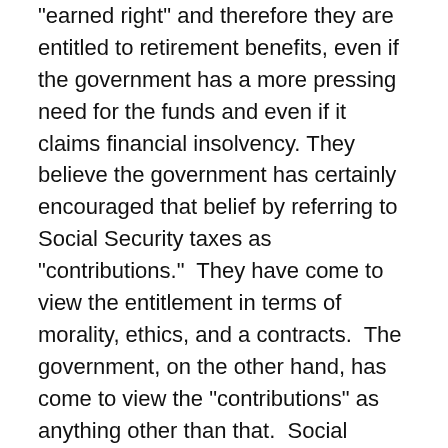“earned right” and therefore they are entitled to retirement benefits, even if the government has a more pressing need for the funds and even if it claims financial insolvency. They believe the government has certainly encouraged that belief by referring to Social Security taxes as “contributions.”  They have come to view the entitlement in terms of morality, ethics, and a contracts.  The government, on the other hand, has come to view the “contributions” as anything other than that.  Social Security is simply another form of taxation and revenue – plundering – for the government.
In the case Flemming v. Nestor (1960), the Supreme Court declined to honor Americans rightful expectations in the program, holding that there is no property or contractual right in the contributions taken from their paychecks specifically for their retirement.  Justice Harlan wrote: “To